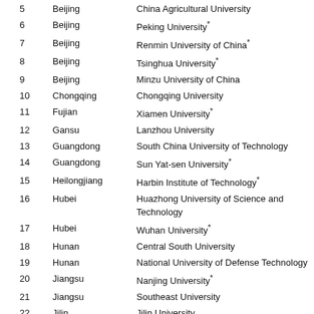| # | Province/Region | University |
| --- | --- | --- |
| 5 | Beijing | China Agricultural University |
| 6 | Beijing | Peking University* |
| 7 | Beijing | Renmin University of China* |
| 8 | Beijing | Tsinghua University* |
| 9 | Beijing | Minzu University of China |
| 10 | Chongqing | Chongqing University |
| 11 | Fujian | Xiamen University* |
| 12 | Gansu | Lanzhou University |
| 13 | Guangdong | South China University of Technology |
| 14 | Guangdong | Sun Yat-sen University* |
| 15 | Heilongjiang | Harbin Institute of Technology* |
| 16 | Hubei | Huazhong University of Science and Technology |
| 17 | Hubei | Wuhan University* |
| 18 | Hunan | Central South University |
| 19 | Hunan | National University of Defense Technology |
| 20 | Jiangsu | Nanjing University* |
| 21 | Jiangsu | Southeast University |
| 22 | Jilin | Jilin University |
| 23 | Liaoning | Dalian University of Technology |
| 24 | Shaanxi | Northwestern Polytechnical University |
| 25 | Shaanxi | Xi'an Jiaotong University |
| 26 | Shandong | Ocean University of China |
| 27 | Shandong | Shandong University |
| 28 | Shanghai | East China Normal University* |